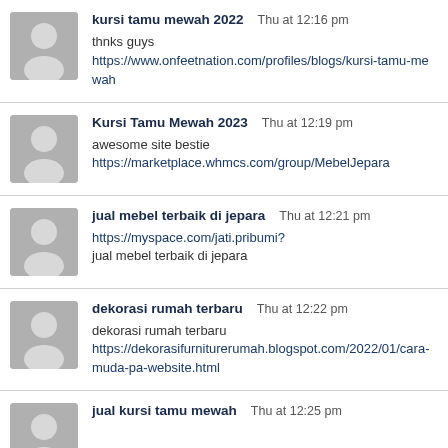kursi tamu mewah 2022  Thu at 12:16 pm
thnks guys
https://www.onfeetnation.com/profiles/blogs/kursi-tamu-mewah
Kursi Tamu Mewah 2023  Thu at 12:19 pm
awesome site bestie
https://marketplace.whmcs.com/group/MebelJepara
jual mebel terbaik di jepara  Thu at 12:21 pm
https://myspace.com/jati.pribumi?
jual mebel terbaik di jepara
dekorasi rumah terbaru  Thu at 12:22 pm
dekorasi rumah terbaru
https://dekorasifurniturerumah.blogspot.com/2022/01/cara-muda-pa-website.html
jual kursi tamu mewah  Thu at 12:25 pm